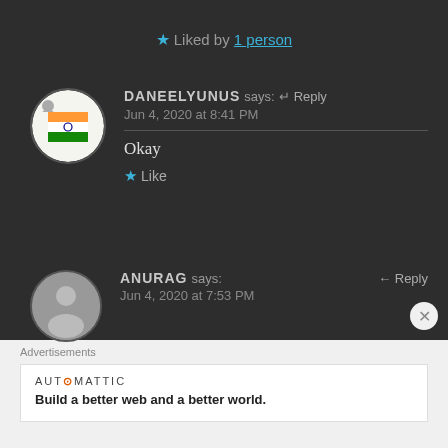★ Liked by 1 person
DANEELYUNUS says: ↵ Reply
Jun 4, 2020 at 8:41 PM
Okay
★ Like
ANURAG says: ← Reply
Jun 4, 2020 at 7:53 PM
Advertisements
AUTOMATTIC
Build a better web and a better world.